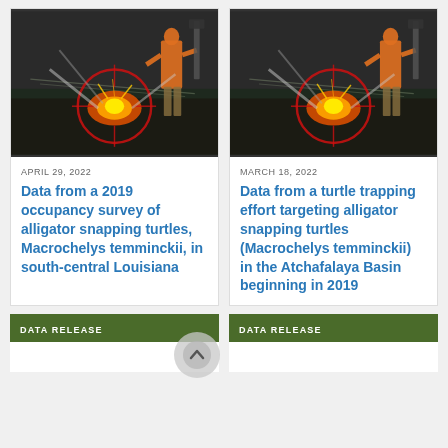[Figure (photo): Researcher in orange vest standing in water, wildlife/alligator snapping turtle trapping scene with red targeting circle overlay - left card]
APRIL 29, 2022
Data from a 2019 occupancy survey of alligator snapping turtles, Macrochelys temminckii, in south-central Louisiana
[Figure (photo): Researcher in orange vest standing in water, wildlife/alligator snapping turtle trapping scene with red targeting circle overlay - right card]
MARCH 18, 2022
Data from a turtle trapping effort targeting alligator snapping turtles (Macrochelys temminckii) in the Atchafalaya Basin beginning in 2019
DATA RELEASE
DATA RELEASE